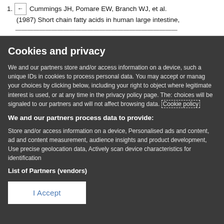1. Cummings JH, Pomare EW, Branch WJ, et al. (1987) Short chain fatty acids in human large intestine,
Cookies and privacy
We and our partners store and/or access information on a device, such as unique IDs in cookies to process personal data. You may accept or manage your choices by clicking below, including your right to object where legitimate interest is used, or at any time in the privacy policy page. These choices will be signaled to our partners and will not affect browsing data. Cookie policy
We and our partners process data to provide:
Store and/or access information on a device, Personalised ads and content, ad and content measurement, audience insights and product development, Use precise geolocation data, Actively scan device characteristics for identification
List of Partners (vendors)
I Accept